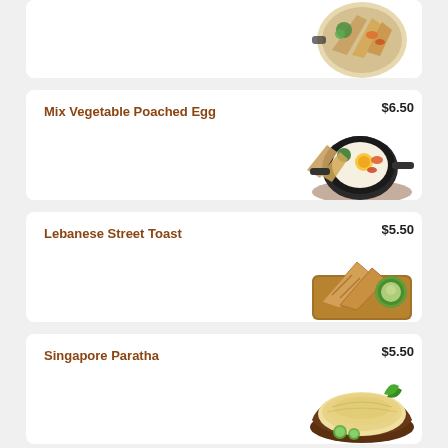[Figure (photo): Partial top menu card showing a round dish with vegetables and flatbread]
Mix Vegetable Poached Egg
$6.50
[Figure (photo): Cast iron skillet with poached egg, vegetables and flatbread on wooden board]
Lebanese Street Toast
$5.50
[Figure (photo): Toasted sandwich triangles on wooden board with dipping sauce]
Singapore Paratha
$5.50
[Figure (photo): Flaky paratha flatbread on dark wooden board with cucumber slices]
Pan Cake
$4.50